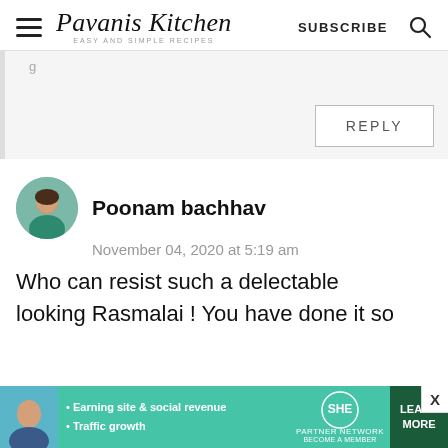Pavanis Kitchen — EASY AND SIMPLE RECIPES | SUBSCRIBE
REPLY
Poonam bachhav
November 04, 2020 at 5:19 am
Who can resist such a delectable looking Rasmalai ! You have done it so
Earning site & social revenue • Traffic growth | SHE PARTNER NETWORK BECOME A MEMBER | LEARN MORE | X